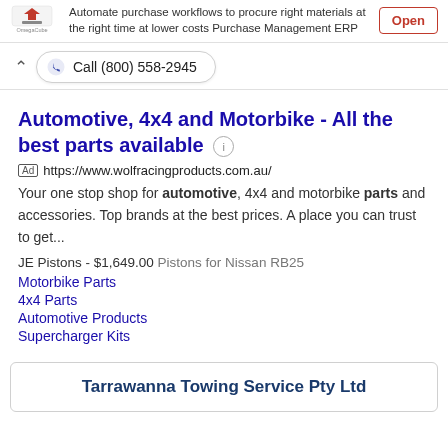[Figure (logo): OmegaCube logo - red and grey icon with company name below]
Automate purchase workflows to procure right materials at the right time at lower costs Purchase Management ERP
Open
Call (800) 558-2945
Automotive, 4x4 and Motorbike - All the best parts available
Ad https://www.wolfracingproducts.com.au/
Your one stop shop for automotive, 4x4 and motorbike parts and accessories. Top brands at the best prices. A place you can trust to get...
JE Pistons - $1,649.00 Pistons for Nissan RB25
Motorbike Parts
4x4 Parts
Automotive Products
Supercharger Kits
Tarrawanna Towing Service Pty Ltd